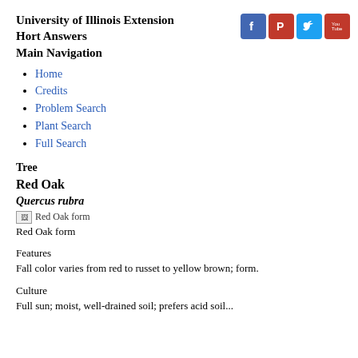University of Illinois Extension
Hort Answers
Main Navigation
Home
Credits
Problem Search
Plant Search
Full Search
Tree
Red Oak
Quercus rubra
[Figure (photo): Red Oak form - placeholder image icon with broken image indicator]
Red Oak form
Features
Fall color varies from red to russet to yellow brown; form.
Culture
Full sun; moist, well-drained soil; prefers acid soil...